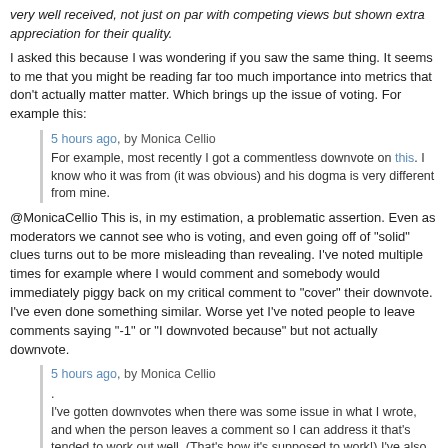very well received, not just on par with competing views but shown extra appreciation for their quality.
I asked this because I was wondering if you saw the same thing. It seems to me that you might be reading far too much importance into metrics that don't actually matter matter. Which brings up the issue of voting. For example this:
5 hours ago, by Monica Cellio
For example, most recently I got a commentless downvote on this. I know who it was from (it was obvious) and his dogma is very different from mine.
@MonicaCellio This is, in my estimation, a problematic assertion. Even as moderators we cannot see who is voting, and even going off of "solid" clues turns out to be more misleading than revealing. I've noted multiple times for example where I would comment and somebody would immediately piggy back on my critical comment to "cover" their downvote. I've even done something similar. Worse yet I've noted people to leave comments saying "-1" or "I downvoted because" but not actually downvote.
5 hours ago, by Monica Cellio
.
I've gotten downvotes when there was some issue in what I wrote, and when the person leaves a comment so I can address it that's tended to work out well. (That's how it's supposed to work!) I've also gotten dogmatic downvotes, ones that do not seem to be about flaws in the post but just because I didn't bring a Christian answer.
@MonicaCellio There is no such thing as a "dogmatic downvote". You simply don't know why or who downvoted in that case. It's widely accepted by experienced SE'ers that even trying to guess is bad news. One more articulate than I once said this:
"...and see that a couple high level users have come, picked some minor mistake..., voted it down, and answered the question..." You have exactly zero idea whether the people who commented voted the answer down, unless they said so. None. Zip. Zilch. Don't assume. A lot of people comment without downvoting, and a lot of people downvote without commenting. To assume that someone taking the time to comment also downvoted is a mistake, and a useless, pointless one. Also note that people don't downvote you, they downvote the answer. — T.J. Crowder Jul 5 at 12:10